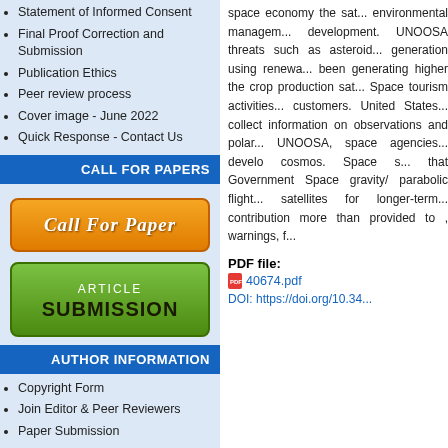Statement of Informed Consent
Final Proof Correction and Submission
Publication Ethics
Peer review process
Cover image - June 2022
Quick Response - Contact Us
CALL FOR PAPERS
[Figure (illustration): Orange rounded button with italic text 'Call For Paper']
[Figure (illustration): Green rounded button with text 'ARTICLE SUBMISSION']
AUTHOR INFORMATION
Copyright Form
Join Editor & Peer Reviewers
Paper Submission
space economy the sa... environmental manage... development. UNOOSA... threats such as asteroi... generation using renew... been generating higher... the crop production sa... Space tourism activitie... customers. United State... collect information on... observations and pola... UNOOSA, space agencie... develo cosmos. Space s... that Government Space... gravity/ parabolic flight... satellites for longer-term... contribution more than... provided to , warnings, f...
PDF file:
40674.pdf
DOI: https://doi.org/10.34...